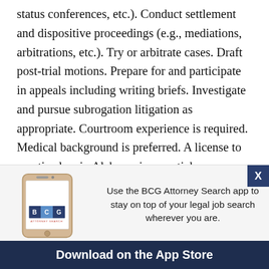status conferences, etc.). Conduct settlement and dispositive proceedings (e.g., mediations, arbitrations, etc.). Try or arbitrate cases. Draft post-trial motions. Prepare for and participate in appeals including writing briefs. Investigate and pursue subrogation litigation as appropriate. Courtroom experience is required. Medical background is preferred. A license to practice law in Alabama is essential.
The candidate must have a J.D. degree. Outstanding oral and written communication and negotiation skills are required. Analytical skills are needed.
[Figure (screenshot): BCG Attorney Search app advertisement banner showing a smartphone with the BCG Attorney Search logo, text prompting users to download the app, and a dark footer with 'Download on the App Store'. An X close button appears in the top-right corner.]